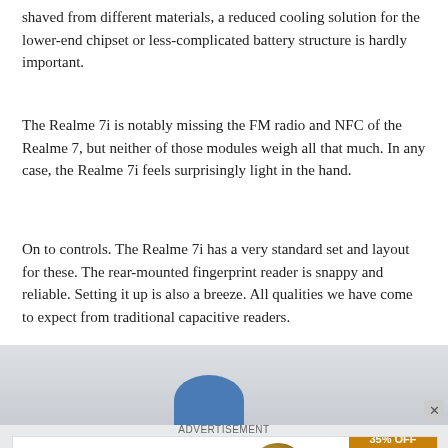shaved from different materials, a reduced cooling solution for the lower-end chipset or less-complicated battery structure is hardly important.
The Realme 7i is notably missing the FM radio and NFC of the Realme 7, but neither of those modules weigh all that much. In any case, the Realme 7i feels surprisingly light in the hand.
On to controls. The Realme 7i has a very standard set and layout for these. The rear-mounted fingerprint reader is snappy and reliable. Setting it up is also a breeze. All qualities we have come to expect from traditional capacitive readers.
[Figure (photo): Advertisement banner area with a blue rounded shape visible at bottom, close button (×) in corner, ADVERTISEMENT label, and a promotional ad for 'The perfect gift' with food imagery and '35% OFF + FREE SHIPPING' offer.]